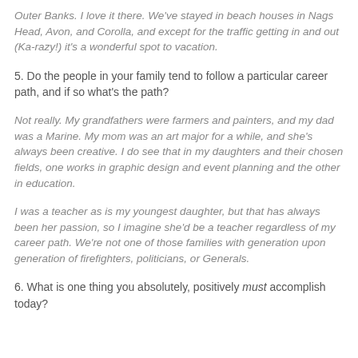Outer Banks. I love it there. We've stayed in beach houses in Nags Head, Avon, and Corolla, and except for the traffic getting in and out (Ka-razy!) it's a wonderful spot to vacation.
5. Do the people in your family tend to follow a particular career path, and if so what's the path?
Not really. My grandfathers were farmers and painters, and my dad was a Marine. My mom was an art major for a while, and she's always been creative. I do see that in my daughters and their chosen fields, one works in graphic design and event planning and the other in education.
I was a teacher as is my youngest daughter, but that has always been her passion, so I imagine she'd be a teacher regardless of my career path. We're not one of those families with generation upon generation of firefighters, politicians, or Generals.
6. What is one thing you absolutely, positively must accomplish today?